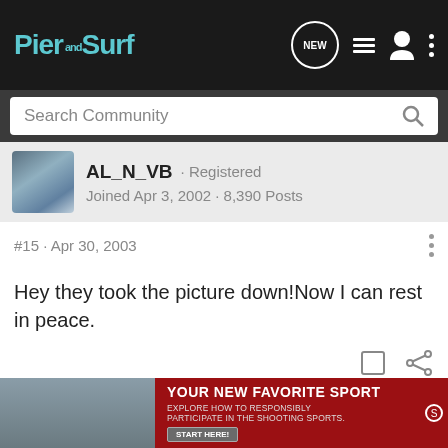Pier and Surf
Search Community
AL_N_VB · Registered
Joined Apr 3, 2002 · 8,390 Posts
#15 · Apr 30, 2003
Hey they took the picture down!Now I can rest in peace.
[Figure (screenshot): Advertisement banner: YOUR NEW FAVORITE SPORT - EXPLORE HOW TO RESPONSIBLY PARTICIPATE IN THE SHOOTING SPORTS. START HERE!]